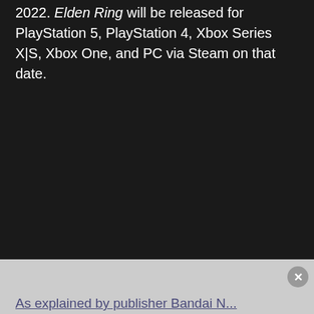2022. Elden Ring will be released for PlayStation 5, PlayStation 4, Xbox Series X|S, Xbox One, and PC via Steam on that date.
As explained by publisher Bandai N...